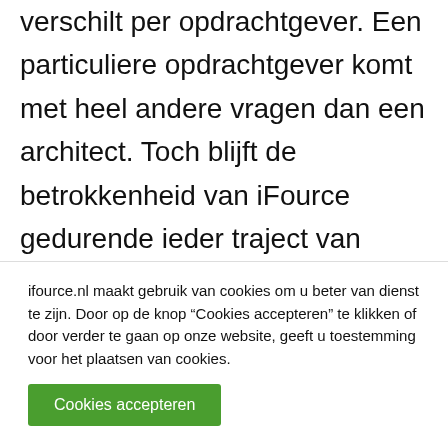verschilt per opdrachtgever. Een particuliere opdrachtgever komt met heel andere vragen dan een architect. Toch blijft de betrokkenheid van iFource gedurende ieder traject van dezelfde waarde. Bij ieder traject adviseren we in de te maken keuzes, leggen we de gemaakte keuzes vast en koppelen we deze terug aan de klant. Door keuzes en besluiten goed te registreren
ifource.nl maakt gebruik van cookies om u beter van dienst te zijn. Door op de knop “Cookies accepteren” te klikken of door verder te gaan op onze website, geeft u toestemming voor het plaatsen van cookies.
Cookies accepteren